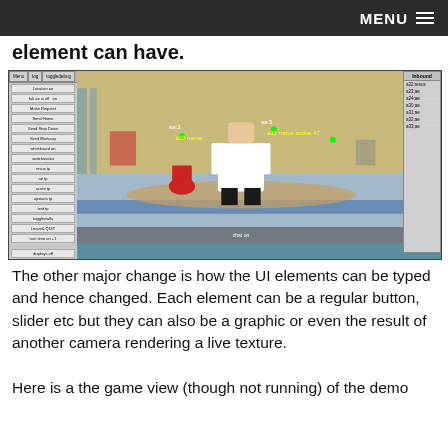MENU
element can have.
[Figure (screenshot): Screenshot of a 3D virtual hospital/emergency department simulation with a menu panel on the left showing options like Location ae, fak ae is off/on, Make Request, Send Home, Send Step Down, Send Mortuary, whiteboard on, switchavatar, resus tp, ae tp, acute tp, upstairs tp, test tp, togglewalls, Leave& QUIT, turn time on +1, displays off, toggledebugboy. An inbound panel on the right shows entries: a22;resus, a23;ae, a24;ae, a30;ae, a31;ae, a32;ae, a33;ae. The central area shows a 3D rendered hospital environment with an avatar (white coat) walking away from camera. A chat on bar is at the bottom.]
The other major change is how the UI elements can be typed and hence changed. Each element can be a regular button, slider etc but they can also be a graphic or even the result of another camera rendering a live texture.
Here is a the game view (though not running) of the demo